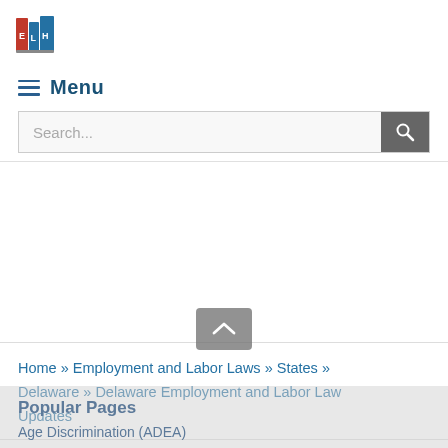[Figure (logo): ELH logo - books icon with letters E, L, H]
Menu
Search...
Home » Employment and Labor Laws » States » Delaware » Delaware Employment and Labor Law Updates
Popular Pages
Age Discrimination (ADEA)